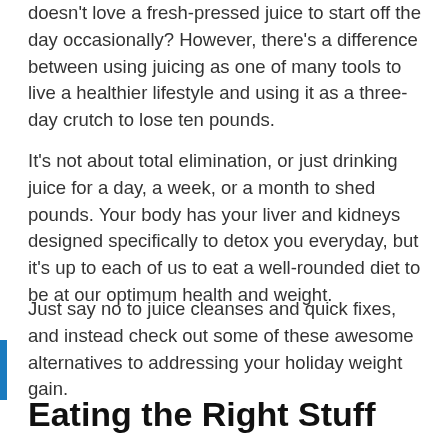doesn't love a fresh-pressed juice to start off the day occasionally? However, there's a difference between using juicing as one of many tools to live a healthier lifestyle and using it as a three-day crutch to lose ten pounds.
It's not about total elimination, or just drinking juice for a day, a week, or a month to shed pounds. Your body has your liver and kidneys designed specifically to detox you everyday, but it's up to each of us to eat a well-rounded diet to be at our optimum health and weight.
Just say no to juice cleanses and quick fixes, and instead check out some of these awesome alternatives to addressing your holiday weight gain.
Eating the Right Stuff